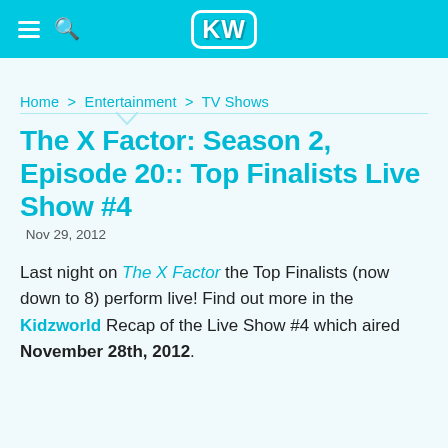KW
Home > Entertainment > TV Shows
The X Factor: Season 2, Episode 20:: Top Finalists Live Show #4
Nov 29, 2012
Last night on The X Factor the Top Finalists (now down to 8) perform live! Find out more in the Kidzworld Recap of the Live Show #4 which aired November 28th, 2012.